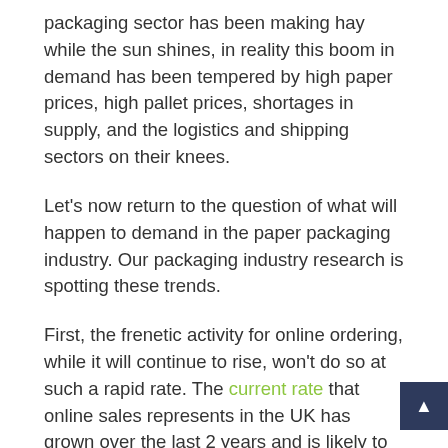packaging sector has been making hay while the sun shines, in reality this boom in demand has been tempered by high paper prices, high pallet prices, shortages in supply, and the logistics and shipping sectors on their knees.
Let's now return to the question of what will happen to demand in the paper packaging industry. Our packaging industry research is spotting these trends.
First, the frenetic activity for online ordering, while it will continue to rise, won't do so at such a rapid rate. The current rate that online sales represents in the UK has grown over the last 2 years and is likely to ease over the next 12 month period. The rate of increase for MODIE (the next two of our direct...